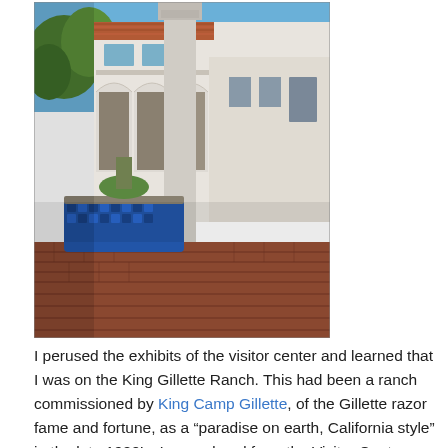[Figure (photo): Outdoor courtyard of the King Gillette Ranch visitor center showing a white stucco Spanish Colonial Revival building with arched colonnade, a decorative blue-tiled fountain in the foreground, a tall white column in the center, and a brick-paved patio under blue sky.]
I perused the exhibits of the visitor center and learned that I was on the King Gillette Ranch. This had been a ranch commissioned by King Camp Gillette, of the Gillette razor fame and fortune, as a “paradise on earth, California style” in the late 1920’s. I meandered from the Visitor Center